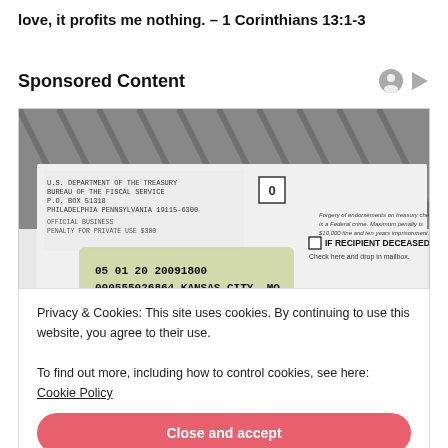love, it profits me nothing. – 1 Corinthians 13:1-3
Sponsored Content
[Figure (photo): A photograph of a government treasury check or financial document showing partial address details: U.S. DEPARTMENT OF THE TREASURY, FISCAL SERVICE, P.O. BOX 51318, PHILADELPHIA PENNSYLVANIA 19115-6300. The check shows numbers: 05 01 20 20091800, 000555026864, KANSAS CITY, MO, 4041 16914130 I. There is text about IF RECIPIENT DECEASED, Check here and drop in mailbox. Forgery of endorsements on treasury checks is a federal crime.]
Privacy & Cookies: This site uses cookies. By continuing to use this website, you agree to their use.
To find out more, including how to control cookies, see here: Cookie Policy
Close and accept